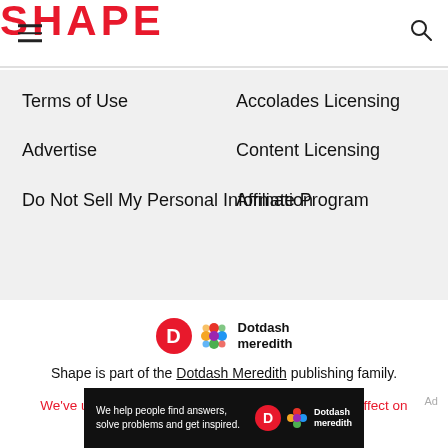SHAPE
Terms of Use
Accolades Licensing
Advertise
Content Licensing
Do Not Sell My Personal Information
Affiliate Program
[Figure (logo): Dotdash Meredith logo with orange D circle and colorful pattern]
Shape is part of the Dotdash Meredith publishing family.
We've updated our Privacy Policy, which will go in to effect on September 1, 2022. Review our Privacy Policy
Ad
[Figure (photo): Dotdash Meredith advertisement banner: We help people find answers, solve problems and get inspired.]